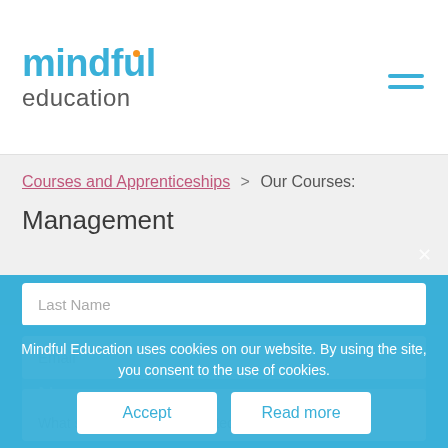[Figure (logo): Mindful Education logo with orange dot over i, blue text 'mindful' and gray 'education']
Courses and Apprenticeships > Our Courses:
Management
Last Name
Email
Phone
Name
What subject are you interested in?
Mindful Education uses cookies on our website. By using the site, you consent to the use of cookies.
Accept
Read more